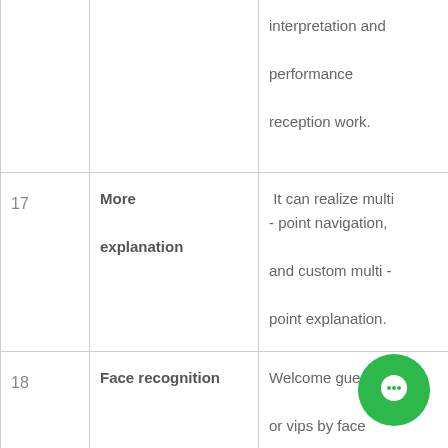| # | Feature | Description |
| --- | --- | --- |
|  |  | interpretation and performance reception work. |
| 17 | More explanation | It can realize multi - point navigation, and custom multi - point explanation. |
| 18 | Face recognition | Welcome guests or vips by face recognition. |
| 19 | Shake hands | Face rec... after the guests, It |